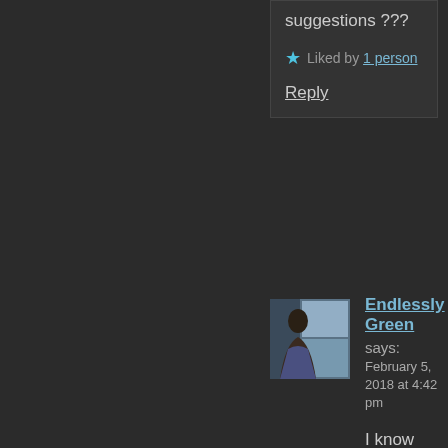suggestions ???
★ Liked by 1 person
Reply
[Figure (photo): Avatar photo of a person looking out a window]
Endlessly Green says: February 5, 2018 at 4:42 pm
I know this is an issue for those living in other states. You will have to find someone